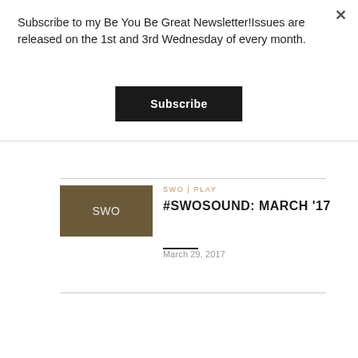Subscribe to my Be You Be Great Newsletter!Issues are released on the 1st and 3rd Wednesday of every month.
Subscribe
SWO | PLAY
#SWOSOUND: MARCH '17
March 29, 2017